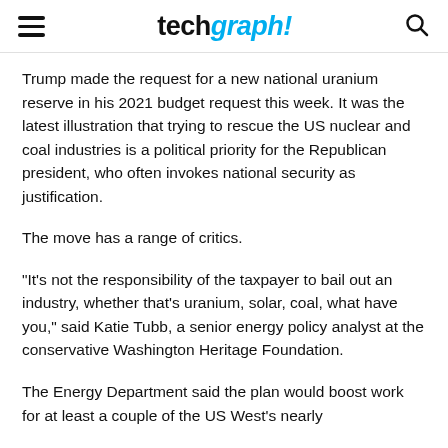techgraph!
Trump made the request for a new national uranium reserve in his 2021 budget request this week. It was the latest illustration that trying to rescue the US nuclear and coal industries is a political priority for the Republican president, who often invokes national security as justification.
The move has a range of critics.
“It’s not the responsibility of the taxpayer to bail out an industry, whether that’s uranium, solar, coal, what have you,” said Katie Tubb, a senior energy policy analyst at the conservative Washington Heritage Foundation.
The Energy Department said the plan would boost work for at least a couple of the US West’s nearly